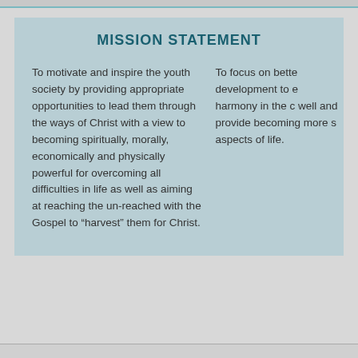MISSION STATEMENT
To motivate and inspire the youth society by providing appropriate opportunities to lead them through the ways of Christ with a view to becoming spiritually, morally, economically and physically powerful for overcoming all difficulties in life as well as aiming at reaching the un-reached with the Gospel to “harvest” them for Christ.
To focus on better development to e... harmony in the c... well and provide ... becoming more s... aspects of life.
THIS WEBSITE IS